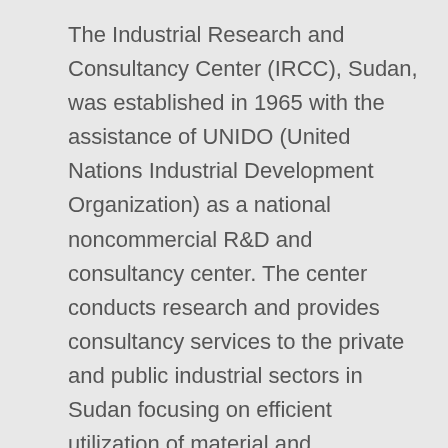The Industrial Research and Consultancy Center (IRCC), Sudan, was established in 1965 with the assistance of UNIDO (United Nations Industrial Development Organization) as a national noncommercial R&D and consultancy center. The center conducts research and provides consultancy services to the private and public industrial sectors in Sudan focusing on efficient utilization of material and resources. IRCC is governed by the IRCC Act of 1981 which provides the center financial and organizational independence as a parastatal organization, although it is known as the technical arm of the Ministry of Industry due to the fact that it is directly connected to the Minister of Industry. IRCC is therefore the technical arm of the State of Sudan in the industrial field and in industrial development as well.